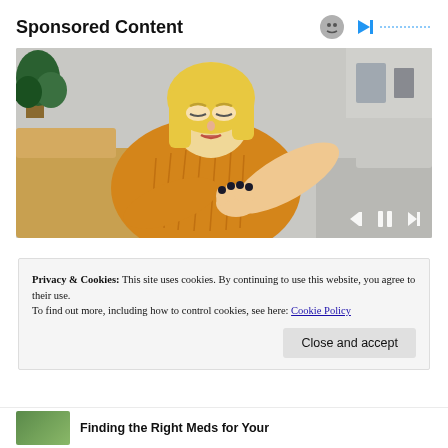Sponsored Content
[Figure (photo): Woman in yellow knit sweater sitting on a couch, looking down and examining her elbow/arm, with a plant and shelving visible in the background. Video player controls (skip back, pause, skip forward) are overlaid at the bottom right of the image.]
Privacy & Cookies: This site uses cookies. By continuing to use this website, you agree to their use.
To find out more, including how to control cookies, see here: Cookie Policy
Close and accept
Finding the Right Meds for Your